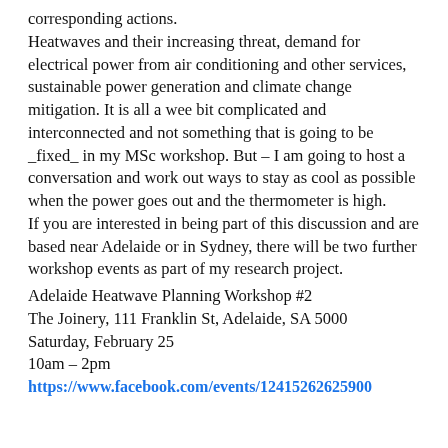corresponding actions. Heatwaves and their increasing threat, demand for electrical power from air conditioning and other services, sustainable power generation and climate change mitigation. It is all a wee bit complicated and interconnected and not something that is going to be _fixed_ in my MSc workshop. But – I am going to host a conversation and work out ways to stay as cool as possible when the power goes out and the thermometer is high. If you are interested in being part of this discussion and are based near Adelaide or in Sydney, there will be two further workshop events as part of my research project.
Adelaide Heatwave Planning Workshop #2
The Joinery, 111 Franklin St, Adelaide, SA 5000
Saturday, February 25
10am – 2pm
https://www.facebook.com/events/12415262625900